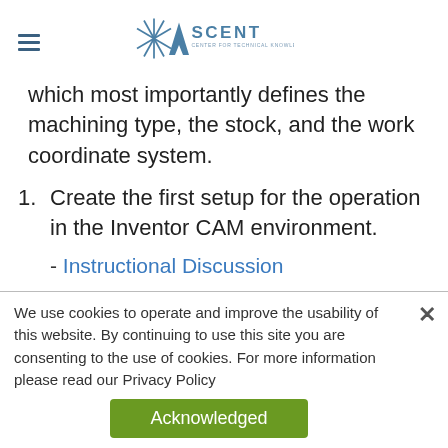ASCENT - Center for Technical Knowledge
which most importantly defines the machining type, the stock, and the work coordinate system.
Create the first setup for the operation in the Inventor CAM environment.
- Instructional Discussion
We use cookies to operate and improve the usability of this website. By continuing to use this site you are consenting to the use of cookies. For more information please read our Privacy Policy
Acknowledged